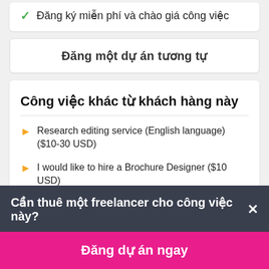Đăng ký miễn phí và chào giá công việc
Đăng một dự án tương tự
Công việc khác từ khách hàng này
Research editing service (English language) ($10-30 USD)
I would like to hire a Brochure Designer ($10 USD)
Mechanic engineering turbomachinery ($10-30 USD)
Cần thuê một freelancer cho công việc này? ×
Đăng dự án ngay